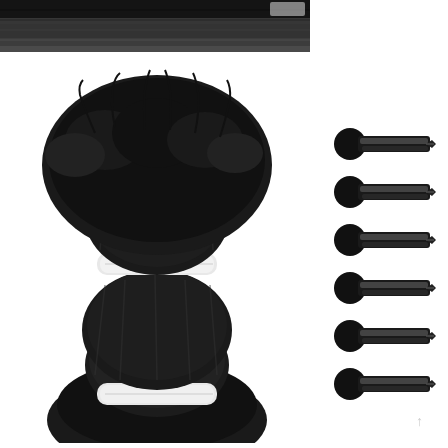[Figure (photo): Top portion of a dark/black textured material on a grey background, cropped view]
[Figure (photo): A skein or bundle of black yarn/thread tied in the middle with white paper bands, creating a bow-like shape with fluffy ends, shown on white background]
[Figure (photo): Six black hair clips arranged vertically on the right side of the image, each clip showing a round black head with a metal alligator-style clip body]